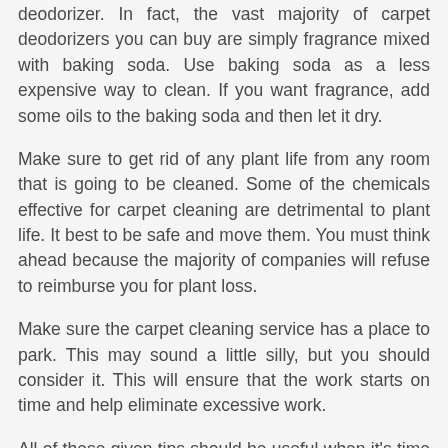deodorizer. In fact, the vast majority of carpet deodorizers you can buy are simply fragrance mixed with baking soda. Use baking soda as a less expensive way to clean. If you want fragrance, add some oils to the baking soda and then let it dry.
Make sure to get rid of any plant life from any room that is going to be cleaned. Some of the chemicals effective for carpet cleaning are detrimental to plant life. It best to be safe and move them. You must think ahead because the majority of companies will refuse to reimburse you for plant loss.
Make sure the carpet cleaning service has a place to park. This may sound a little silly, but you should consider it. This will ensure that the work starts on time and help eliminate excessive work.
All of these given tips should be useful when it's time to hire a cleaning company. Use it as a guide that will help you get the most out of your investment.